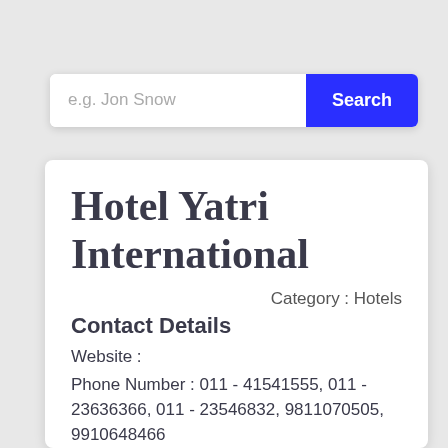e.g. Jon Snow
Search
Hotel Yatri International
Category : Hotels
Contact Details
Website :
Phone Number : 011 - 41541555, 011 - 23636366, 011 - 23546832, 9811070505, 9910648466
Email Id
City : Delhi